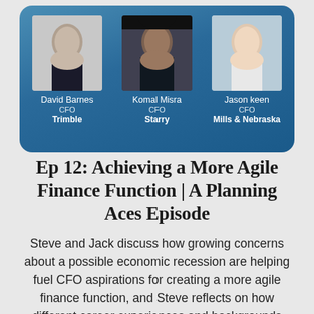[Figure (illustration): Banner with blue gradient background showing three CFO headshots: David Barnes (CFO, Trimble), Komal Misra (CFO, Starry), Jason keen (CFO, Mills & Nebraska)]
Ep 12: Achieving a More Agile Finance Function | A Planning Aces Episode
Steve and Jack discuss how growing concerns about a possible economic recession are helping fuel CFO aspirations for creating a more agile finance function, and Steve reflects on how different career experiences and backgrounds influence how CFOs lead and make business